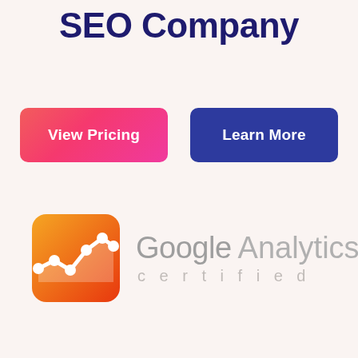SEO Company
View Pricing
Learn More
[Figure (logo): Google Analytics certified logo with orange/red gradient icon showing a line chart with dots, alongside the text 'Google Analytics' in grey and 'certified' in light grey spaced letters]